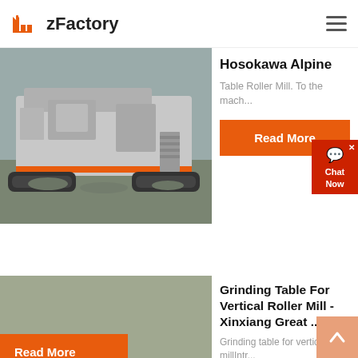zFactory
Hosokawa Alpine
Table Roller Mill. To the mach...
Read More
[Figure (photo): Industrial crushing/processing machine on tracks outdoors]
Grinding Table For Vertical Roller Mill - Xinxiang Great ...
Grinding table for vertical millIntr...
[Figure (photo): Industrial scaffolding and factory structures with smokestacks in background]
Read More